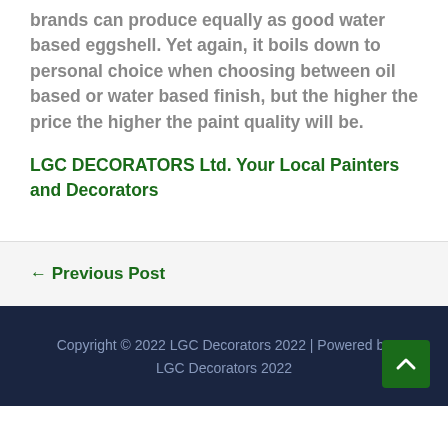brands can produce equally as good water based eggshell. Yet again, it boils down to personal choice when choosing between oil based or water based finish, but the higher the price the higher the paint quality will be.
LGC DECORATORS Ltd. Your Local Painters and Decorators
← Previous Post
Copyright © 2022 LGC Decorators 2022 | Powered by LGC Decorators 2022